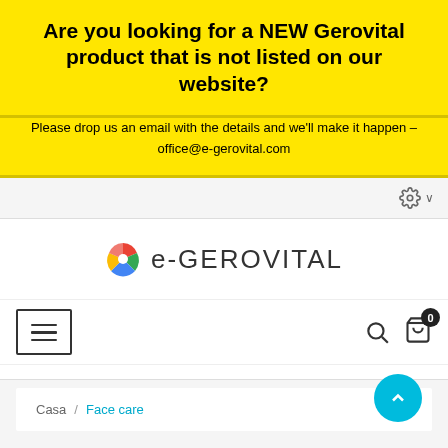Are you looking for a NEW Gerovital product that is not listed on our website?
Please drop us an email with the details and we'll make it happen – office@e-gerovital.com
[Figure (logo): e-GEROVITAL logo with colorful pinwheel icon]
[Figure (screenshot): Website navigation bar with hamburger menu, search icon, and cart with 0 items]
Casa / Face care